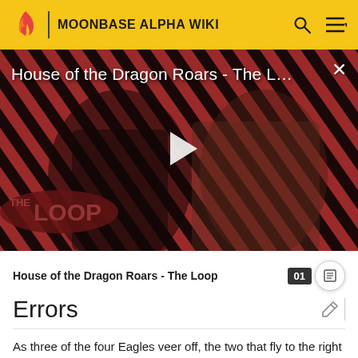MOONBASE ALPHA WIKI
[Figure (screenshot): Video thumbnail for 'House of the Dragon Roars - The Loop' showing two characters against a red and dark diagonal stripe background, with a play button in the center and 'THE LOOP' branding in the lower left.]
House of the Dragon Roars - The Loop
Errors
As three of the four Eagles veer off, the two that fly to the right of the screen briefly merge